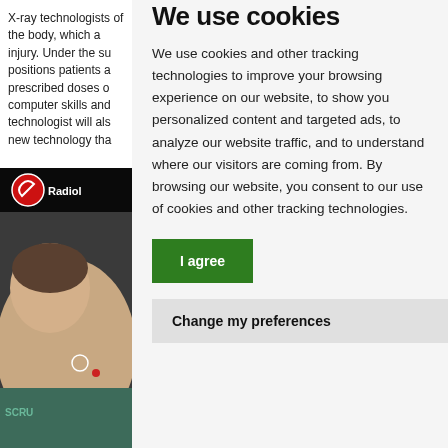X-ray technologists of the body, which a injury. Under the su positions patients a prescribed doses o computer skills and technologist will als new technology tha
[Figure (screenshot): Thumbnail image showing a radiology video with a red circular logo and 'Radiology' text overlay, with a patient lying down visible in background]
We use cookies
We use cookies and other tracking technologies to improve your browsing experience on our website, to show you personalized content and targeted ads, to analyze our website traffic, and to understand where our visitors are coming from. By browsing our website, you consent to our use of cookies and other tracking technologies.
I agree
Change my preferences